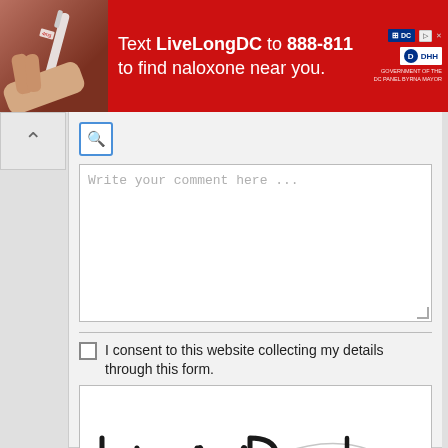[Figure (infographic): Red advertisement banner: Text LiveLongDC to 888-811 to find naloxone near you. DC government health department logos on the right.]
[Figure (screenshot): Web form UI with search icon, comment textarea with placeholder 'Write your comment here ...', consent checkbox, CAPTCHA image showing handwritten-style text 'hWVRak', refresh icon, CAPTCHA input field, and Preview/Send/Reset buttons.]
Write your comment here ...
I consent to this website collecting my details through this form.
Preview   Send   Reset